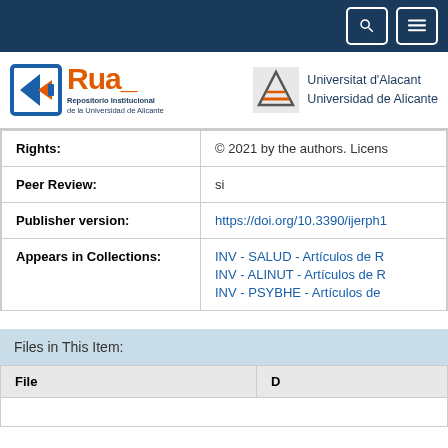RUA - Repositorio Institucional de la Universidad de Alicante | Universitat d'Alacant / Universidad de Alicante
| Field | Value |
| --- | --- |
| Rights: | © 2021 by the authors. Licens... |
| Peer Review: | si |
| Publisher version: | https://doi.org/10.3390/ijerph1... |
| Appears in Collections: | INV - SALUD - Artículos de R...
INV - ALINUT - Artículos de R...
INV - PSYBHE - Artículos de... |
Files in This Item:
| File | D |
| --- | --- |